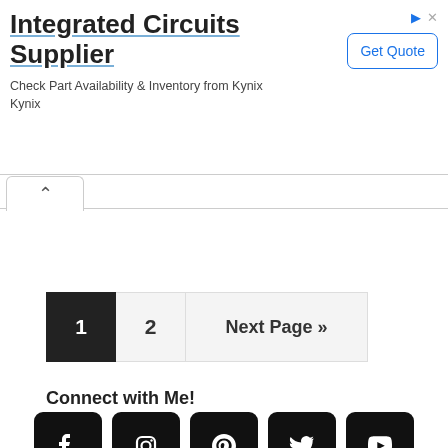[Figure (screenshot): Advertisement banner for Integrated Circuits Supplier. Title: 'Integrated Circuits Supplier', subtitle: 'Check Part Availability & Inventory from Kynix Kynix', with a 'Get Quote' button on the right and ad icons top right.]
[Figure (other): Browser tab arrow/collapse control showing an upward caret symbol.]
1  2  Next Page »
Connect with Me!
[Figure (other): Row of five social media icons: Facebook, Instagram, Pinterest, Twitter, YouTube — all in black rounded square buttons.]
Join the Email List